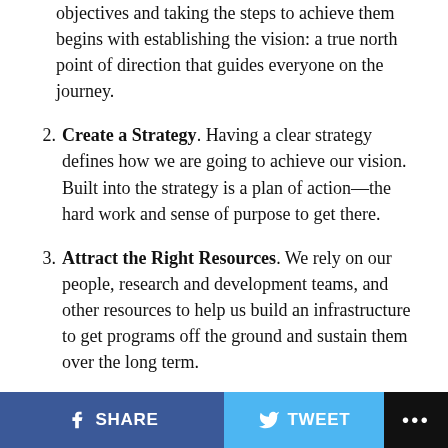objectives and taking the steps to achieve them begins with establishing the vision: a true north point of direction that guides everyone on the journey.
2. Create a Strategy. Having a clear strategy defines how we are going to achieve our vision. Built into the strategy is a plan of action—the hard work and sense of purpose to get there.
3. Attract the Right Resources. We rely on our people, research and development teams, and other resources to help us build an infrastructure to get programs off the ground and sustain them over the long term.
4. Execute to Achieve the Plan. Once we define our aspirations and create a strategy, the ultimate
SHARE   TWEET   ...